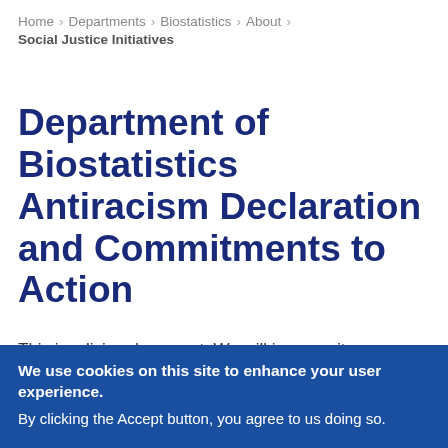Home > Departments > Biostatistics > About > Social Justice Initiatives
Department of Biostatistics Antiracism Declaration and Commitments to Action
This is a living document. We will improve it as our
We use cookies on this site to enhance your user experience. By clicking the Accept button, you agree to us doing so.